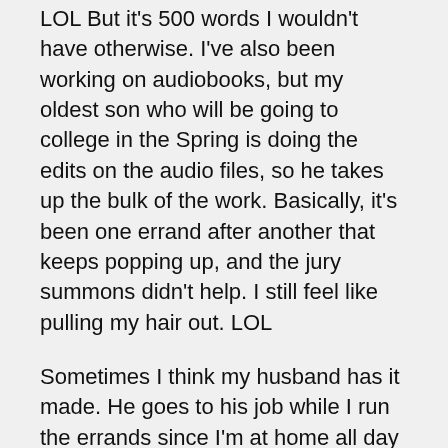LOL But it's 500 words I wouldn't have otherwise. I've also been working on audiobooks, but my oldest son who will be going to college in the Spring is doing the edits on the audio files, so he takes up the bulk of the work. Basically, it's been one errand after another that keeps popping up, and the jury summons didn't help. I still feel like pulling my hair out. LOL
Sometimes I think my husband has it made. He goes to his job while I run the errands since I'm at home all day and can just drop everything to do what people need to get done. Then he comes home at night to a hot meal, watches TV, and goes to bed. I'm trying to catch up on some